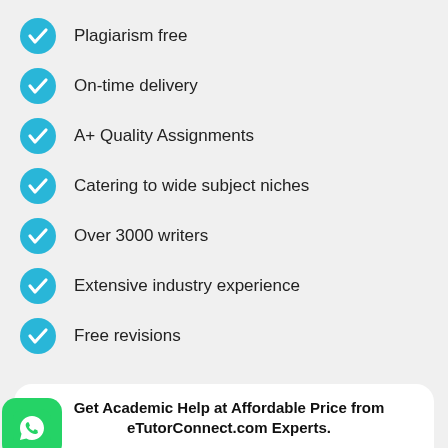Plagiarism free
On-time delivery
A+ Quality Assignments
Catering to wide subject niches
Over 3000 writers
Extensive industry experience
Free revisions
Get Academic Help at Affordable Price from eTutorConnect.com Experts.
Full Name
Enter your name
Email